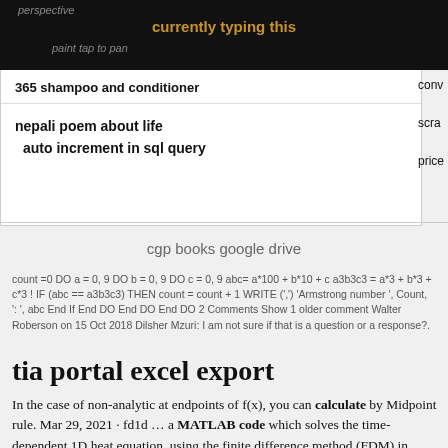perspective
paint tap to pan
365 shampoo and conditioner
conv scrap price
nepali poem about life
auto increment in sql query
cgp books google drive
count =0 DO a = 0, 9 DO b = 0, 9 DO c = 0, 9 abc= a*100 + b*10 + c a3b3c3 = a*3 + b*3 + c*3 ! IF (abc == a3b3c3) THEN count = count + 1 WRITE (',') 'Armstrong number ', Count, ': ', abc End If End DO End DO End DO 2 Comments Show 1 older comment Walter Roberson on 15 Oct 2018 Dilsher Mzuri: I am not sure if that is a question or a response?.
tia portal excel export
In the case of non-analytic at endpoints of f(x), you can calculate by Midpoint rule. Mar 29, 2021 · fd1d … a MATLAB code which solves the time-dependent 1D heat equation, using the finite difference method (FDM) in space, and a backward Euler method in time. This